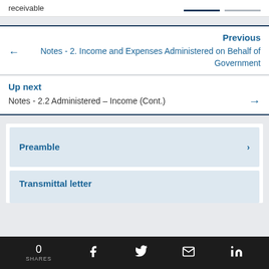receivable
Previous
← Notes - 2. Income and Expenses Administered on Behalf of Government
Up next
Notes - 2.2 Administered – Income (Cont.) →
Preamble ›
Transmittal letter
0 SHARES